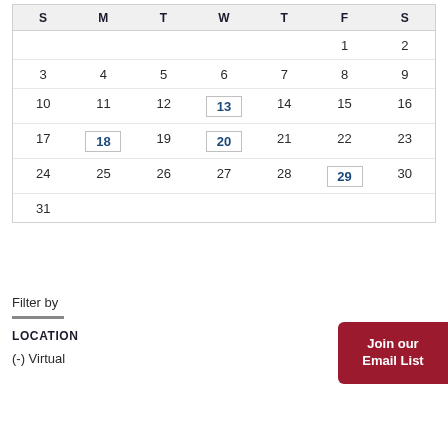| S | M | T | W | T | F | S |
| --- | --- | --- | --- | --- | --- | --- |
|  |  |  |  |  | 1 | 2 |
| 3 | 4 | 5 | 6 | 7 | 8 | 9 |
| 10 | 11 | 12 | 13 | 14 | 15 | 16 |
| 17 | 18 | 19 | 20 | 21 | 22 | 23 |
| 24 | 25 | 26 | 27 | 28 | 29 | 30 |
| 31 |  |  |  |  |  |  |
Filter by
LOCATION
(-) Virtual
Join our Email List